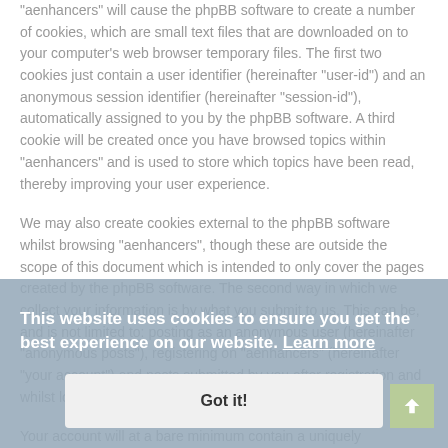"aenhancers" will cause the phpBB software to create a number of cookies, which are small text files that are downloaded on to your computer's web browser temporary files. The first two cookies just contain a user identifier (hereinafter "user-id") and an anonymous session identifier (hereinafter "session-id"), automatically assigned to you by the phpBB software. A third cookie will be created once you have browsed topics within "aenhancers" and is used to store which topics have been read, thereby improving your user experience.
We may also create cookies external to the phpBB software whilst browsing "aenhancers", though these are outside the scope of this document which is intended to only cover the pages created by the phpBB software. The second way in which we collect your information is by what you submit to us. This can be, and is not limited to: posting as an anonymous user (hereinafter "anonymous posts"), registering on "aenhancers" (hereinafter "your account") and posts submitted by you after registration and whilst logged in (hereinafter "your posts").
Your account will at a bare minimum contain a uniquely identifiable name (hereinafter "your user name"), a personal password used for logging into your account (hereinafter "your
This website uses cookies to ensure you get the best experience on our website. Learn more
Got it!